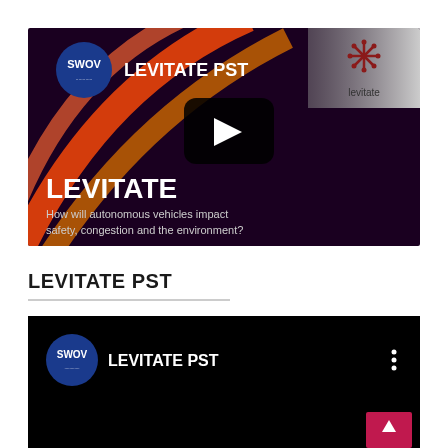[Figure (screenshot): YouTube video thumbnail for LEVITATE PST. Dark maroon/purple background with decorative curved arcs in orange and red on the left. SWOV logo (blue circle with 'SWOV' text) in top-left. Levitate logo (snowflake-like icon) in top-right with white/gray gradient background. Large play button (black rounded rectangle with white triangle) in center. Text 'LEVITATE' in large bold white text and 'How will autonomous vehicles impact safety, congestion and the environment?' in smaller white text at the bottom-left.]
LEVITATE PST
[Figure (screenshot): YouTube channel panel with black background. SWOV logo (blue circle with SWOV text) on the left followed by 'LEVITATE PST' text in white. Three vertical dots (menu) icon on the right. Pink/crimson scroll-to-top button with upward arrow in bottom-right corner.]